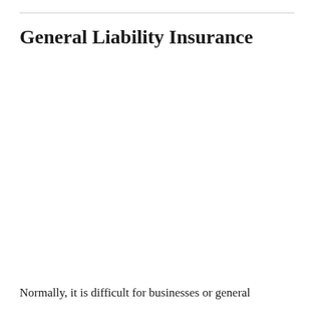General Liability Insurance
Normally, it is difficult for businesses or general